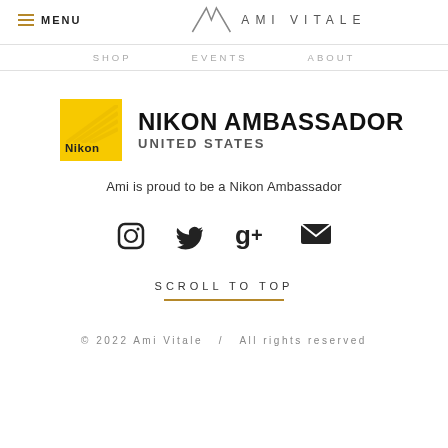MENU | AMI VITALE
SHOP   EVENTS   ABOUT
[Figure (logo): Nikon Ambassador United States logo with yellow Nikon logo square and bold text NIKON AMBASSADOR / UNITED STATES]
Ami is proud to be a Nikon Ambassador
[Figure (infographic): Social media icons: Instagram, Twitter, Google+, Email]
SCROLL TO TOP
© 2022 Ami Vitale  /  All rights reserved